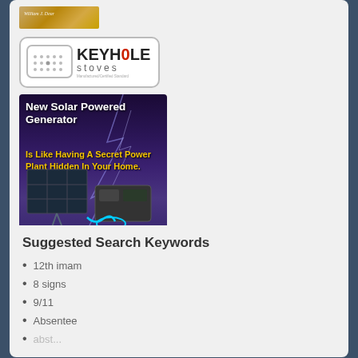[Figure (photo): Book cover with golden/amber tones, author name visible at top]
[Figure (logo): Keyhole Stoves logo with icon of stove and brand name]
[Figure (photo): Solar powered generator advertisement with purple lightning background, solar panel and generator shown, text: New Solar Powered Generator Is Like Having A Secret Power Plant Hidden In Your Home. MySolarBackup.com]
Suggested Search Keywords
12th imam
8 signs
9/11
Absentee